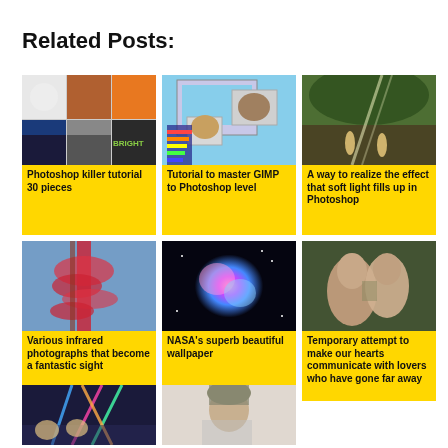Related Posts:
[Figure (photo): Photoshop killer tutorial 30 pieces - collage of photo editing examples]
Photoshop killer tutorial 30 pieces
[Figure (photo): Tutorial to master GIMP to Photoshop level - screenshot of GIMP with cat photo]
Tutorial to master GIMP to Photoshop level
[Figure (photo): A way to realize the effect that soft light fills up in Photoshop - forest scene with two children]
A way to realize the effect that soft light fills up in Photoshop
[Figure (photo): Various infrared photographs that become a fantastic sight - red palm tree against blue sky]
Various infrared photographs that become a fantastic sight
[Figure (photo): NASA's superb beautiful wallpaper - colorful nebula in space]
NASA's superb beautiful wallpaper
[Figure (photo): Temporary attempt to make our hearts communicate with lovers who have gone far away - couple about to kiss]
Temporary attempt to make our hearts communicate with lovers who have gone far away
[Figure (photo): Partial card - laser lights at a show]
[Figure (photo): Partial card - person with hooded sweatshirt]